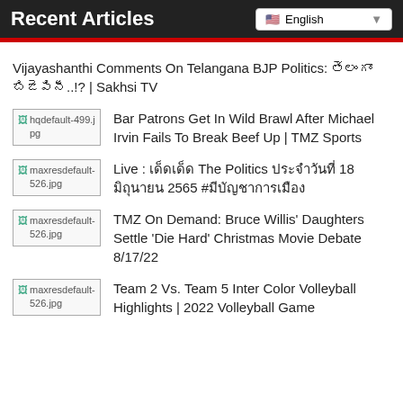Recent Articles
Vijayashanthi Comments On Telangana BJP Politics: తెలంగాంఖ్ బిజేపినీ..!? | Sakhsi TV
[Figure (screenshot): Thumbnail placeholder: hqdefault-499.jpg]
Bar Patrons Get In Wild Brawl After Michael Irvin Fails To Break Beef Up | TMZ Sports
[Figure (screenshot): Thumbnail placeholder: maxresdefault-526.jpg]
Live : เด็ดเด็ด The Politics ประจำวันที่ 18 มิถุนายน 2565 #มีบัญชาการเมือง
[Figure (screenshot): Thumbnail placeholder: maxresdefault-526.jpg]
TMZ On Demand: Bruce Willis’ Daughters Settle ‘Die Hard’ Christmas Movie Debate 8/17/22
[Figure (screenshot): Thumbnail placeholder: maxresdefault-526.jpg]
Team 2 Vs. Team 5 Inter Color Volleyball Highlights | 2022 Volleyball Game